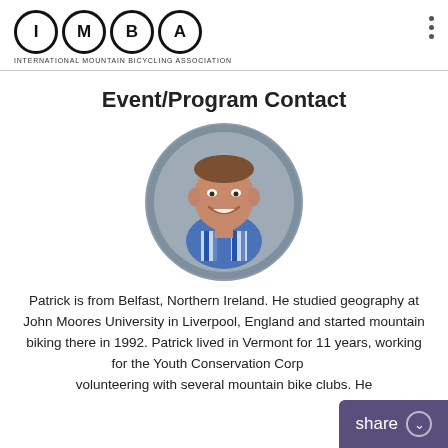[Figure (logo): IMBA logo with four circles containing letters I, M, B, A and text INTERNATIONAL MOUNTAIN BICYCLING ASSOCIATION below]
Event/Program Contact
[Figure (photo): Circular profile photo of a man smiling, wearing a blue and white plaid shirt, with a gray background]
Patrick is from Belfast, Northern Ireland. He studied geography at John Moores University in Liverpool, England and started mountain biking there in 1992. Patrick lived in Vermont for 11 years, working for the Youth Conservation Corp and volunteering with several mountain bike clubs. He